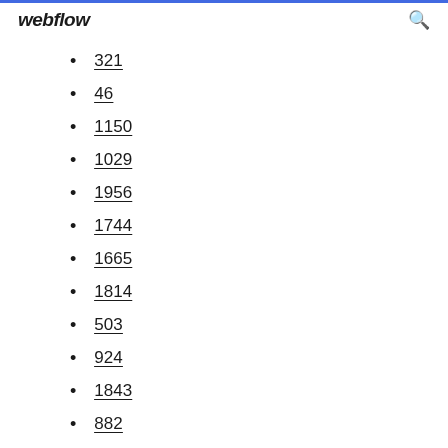webflow
321
46
1150
1029
1956
1744
1665
1814
503
924
1843
882